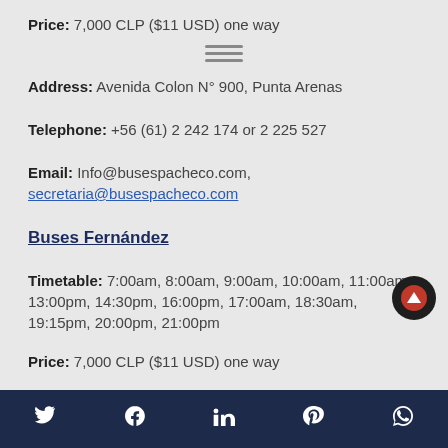Price: 7,000 CLP ($11 USD) one way
Address: Avenida Colon N° 900, Punta Arenas
Telephone: +56 (61) 2 242 174 or 2 225 527
Email: Info@busespacheco.com, secretaria@busespacheco.com
Buses Fernández
Timetable: 7:00am, 8:00am, 9:00am, 10:00am, 11:00am, 13:00pm, 14:30pm, 16:00pm, 17:00am, 18:30am, 19:15pm, 20:00pm, 21:00pm
Price: 7,000 CLP ($11 USD) one way
Twitter, Facebook, LinkedIn, Pinterest, WhatsApp